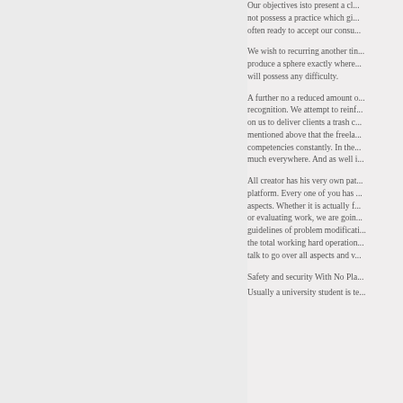Our objectives isto present a cl... not possess a practice which gi... often ready to accept our consu...
We wish to recurring another tin... produce a sphere exactly where... will possess any difficulty.
A further no a reduced amount o... recognition. We attempt to reinf... on us to deliver clients a trash c... mentioned above that the freela... competencies constantly. In the... much everywhere. And as well i...
All creator has his very own pat... platform. Every one of you has ... aspects. Whether it is actually f... or evaluating work, we are goin... guidelines of problem modificati... the total working hard operation... talk to go over all aspects and v...
Safety and security With No Pla...
Usually a university student is te...